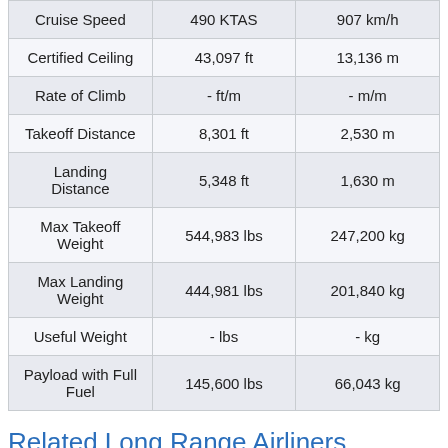| Cruise Speed | 490 KTAS | 907 km/h |
| Certified Ceiling | 43,097 ft | 13,136 m |
| Rate of Climb | - ft/m | - m/m |
| Takeoff Distance | 8,301 ft | 2,530 m |
| Landing Distance | 5,348 ft | 1,630 m |
| Max Takeoff Weight | 544,983 lbs | 247,200 kg |
| Max Landing Weight | 444,981 lbs | 201,840 kg |
| Useful Weight | - lbs | - kg |
| Payload with Full Fuel | 145,600 lbs | 66,043 kg |
Related Long Range Airliners